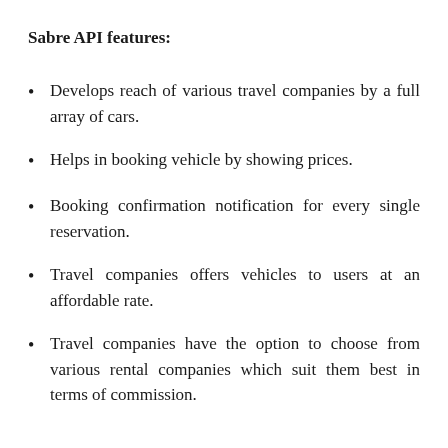Sabre API features:
Develops reach of various travel companies by a full array of cars.
Helps in booking vehicle by showing prices.
Booking confirmation notification for every single reservation.
Travel companies offers vehicles to users at an affordable rate.
Travel companies have the option to choose from various rental companies which suit them best in terms of commission.